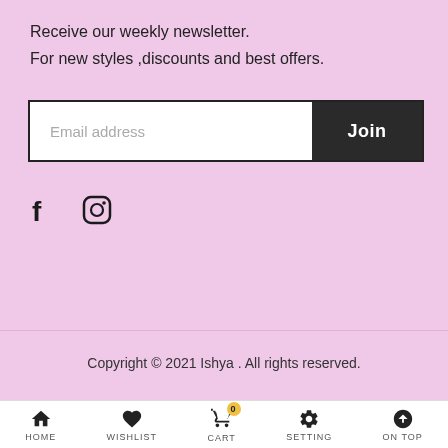Receive our weekly newsletter.
For new styles ,discounts and best offers.
[Figure (screenshot): Email address input field with a dark 'Join' button]
[Figure (illustration): Facebook and Instagram social media icons]
Copyright © 2021 Ishya . All rights reserved.
HOME  WISHLIST  CART  SETTING  ON TOP